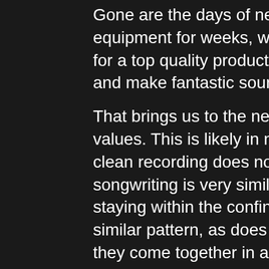Gone are the days of needing to rent out stud equipment for weeks, with a large financial inv for a top quality product. Now, bands like Hea and make fantastic sounding albums without a
That brings us to the new release, All That You values. This is likely in no small part due to the clean recording does not make an album a ma songwriting is very similar to the debut, yet st staying within the confines of their debut albu similar pattern, as does Pete Rinaldi's excellen they come together in a new fashion. The one Richard Brook, but one might not even notice impactful on the music as a whole. Lee Pomer to insert a great bass melody, while providing
Headspace continue to explore a special groun on open and imaginative arrangements and in well-planned sounds within each song. Within can hear nearly half a dozen shifts in the keyb Rinaldi's electric guitar only occasionally see